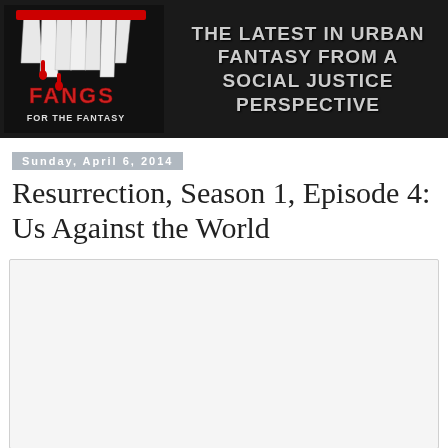[Figure (logo): Fangs for the Fantasy blog banner with stylized vampire fangs logo on the left and tagline 'THE LATEST IN URBAN FANTASY FROM A SOCIAL JUSTICE PERSPECTIVE' on the right, black background]
Sunday, April 6, 2014
Resurrection, Season 1, Episode 4: Us Against the World
[Figure (photo): Blank/white placeholder image area]